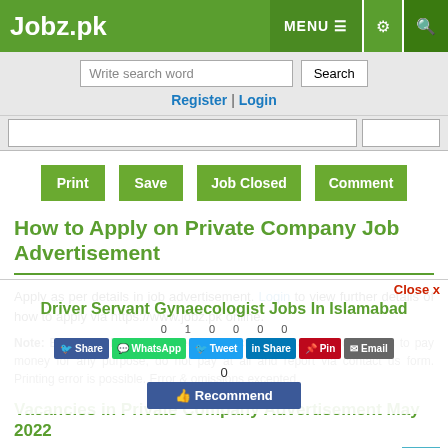Jobz.pk   MENU  [settings] [search]
Write search word   Search
Register | Login
[Print] [Save] [Job Closed] [Comment]
How to Apply on Private Company Job Advertisement
Apply as per details in job advertisement. Login to view further details of how to apply via https://www.jobz.pk online.
Close x
Driver Servant Gynaecologist Jobs In Islamabad
0  1  0  0  0  0
Share  WhatsApp  Tweet  Share  Pin  Email
0
Recommend
Note: Beware of Fraudulent Recruiting Activities. If an employer asks to pay money for any purpose, do not pay at all and report via contact us form. Printing error is possible. Error & omissions excepted.
Vacancies in Private Company Advertisement May 2022
[Job Closed] [Save] [Comment] [Print] [^]
Gynaecologist    Servant